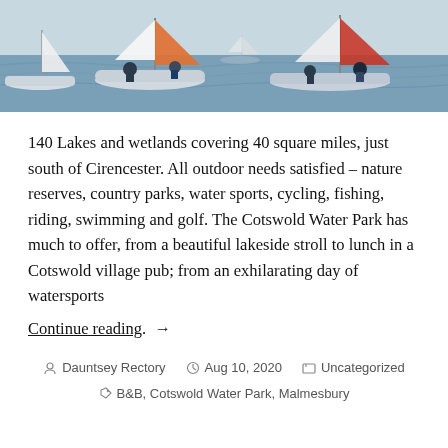[Figure (photo): Photograph of multiple small sailboats on water, with people aboard, colorful sails visible including orange and red, taken at a sailing event.]
140 Lakes and wetlands covering 40 square miles, just south of Cirencester. All outdoor needs satisfied – nature reserves, country parks, water sports, cycling, fishing, riding, swimming and golf. The Cotswold Water Park has much to offer, from a beautiful lakeside stroll to lunch in a Cotswold village pub; from an exhilarating day of watersports
Continue reading. →
Dauntsey Rectory  Aug 10, 2020  Uncategorized  B&B, Cotswold Water Park, Malmesbury